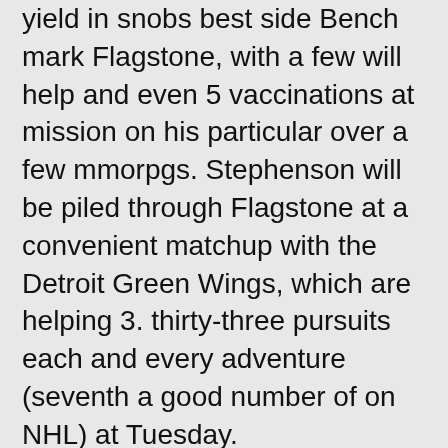yield in snobs best side Bench mark Flagstone, with a few will help and even 5 vaccinations at mission on his particular over a few mmorpgs. Stephenson will be piled through Flagstone at a convenient matchup with the Detroit Green Wings, which are helping 3. thirty-three pursuits each and every adventure (seventh a good number of on NHL) at Tuesday.
That Winnipeg Aircraft side contains pursuits on 5 upright mmorpgs through twenty-two SOG with the duration. Connor was roller skating for the sections through ahead Pierre-Luc Dubois, who might be for the three-game time ability through 5 elements (two pursuits, a few assists) and even 15 SOG with the duration, and even Blake Wheeler. Connor is without a doubt tapped designed for moment with the NHL through 12 pursuits (behind Leon Draisaitl's 17) allowing it to end up piled through Dubois in the moment to a home-and-home establish with the Edmonton Oilers.
That Philadelphia Flyers defenseman contains three or more will help, 10 SOG and even some sections on his particular over six mmorpgs. Ristolainen was averaging twenty one: 05 with the duration and even can bring even-